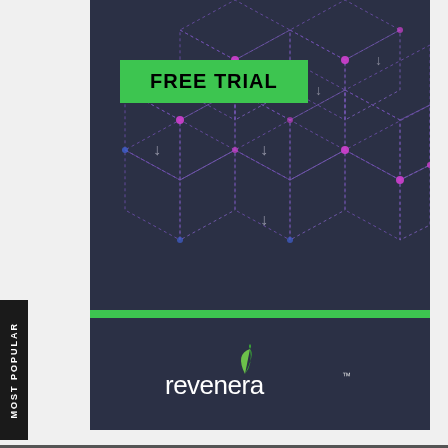[Figure (illustration): Dark navy card with isometric cube/box grid pattern in purple and blue dotted lines with pink/magenta accent dots and arrow indicators. A bright green FREE TRIAL badge overlaid on the upper portion. A green horizontal bar separates the graphic area from the Revenera logo at the bottom. A 'MOST POPULAR' vertical tab on the left side.]
FREE TRIAL
[Figure (logo): Revenera logo with green leaf/umbrella icon and white wordmark 'revenera' with TM mark]